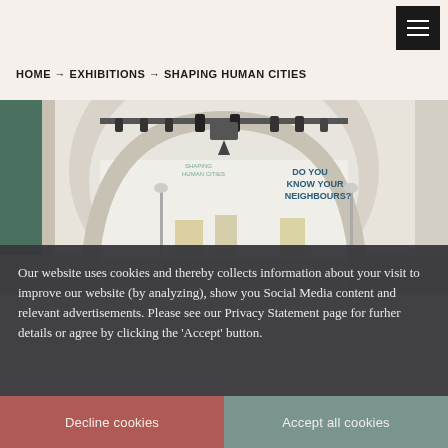HOME → EXHIBITIONS → SHAPING HUMAN CITIES
[Figure (photo): Interior of a museum exhibition space with arched ceilings, track lighting, display stands, and text on the wall reading 'DO YOU KNOW YOUR NEIGHBOURS?' This is the Shaping Human Cities exhibition.]
Our website uses cookies and thereby collects information about your visit to improve our website (by analyzing), show you Social Media content and relevant advertisements. Please see our Privacy Statement page for furher details or agree by clicking the 'Accept' button.
Decline cookies
Accept all cookies